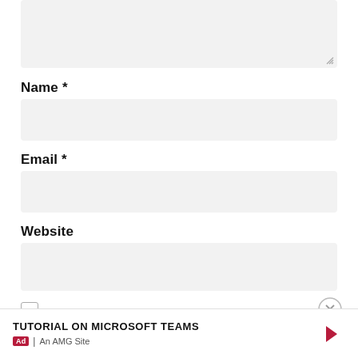[Figure (screenshot): Textarea input box (empty, light gray background) with resize handle at bottom-right corner]
Name *
[Figure (screenshot): Name text input field (empty, light gray background)]
Email *
[Figure (screenshot): Email text input field (empty, light gray background)]
Website
[Figure (screenshot): Website text input field (empty, light gray background)]
[Figure (screenshot): Checkbox (unchecked, square with border)]
[Figure (screenshot): Close button (circle with X) at right]
TUTORIAL ON MICROSOFT TEAMS
Ad | An AMG Site